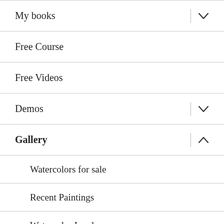My books
Free Course
Free Videos
Demos
Gallery
Watercolors for sale
Recent Paintings
Watercolor Landscapes
Watercolor Street Scenes